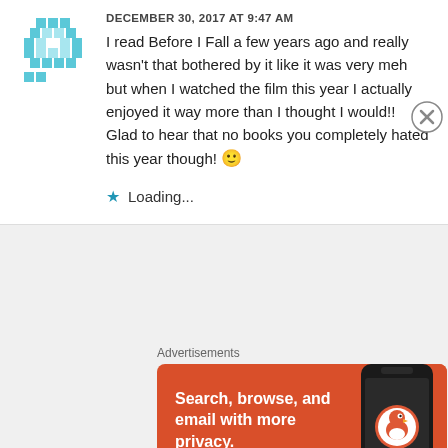[Figure (illustration): Pixelated teal/blue avatar icon]
DECEMBER 30, 2017 AT 9:47 AM
I read Before I Fall a few years ago and really wasn't that bothered by it like it was very meh but when I watched the film this year I actually enjoyed it way more than I thought I would!! Glad to hear that no books you completely hated this year though! 🙂
★ Loading...
Advertisements
[Figure (screenshot): DuckDuckGo advertisement banner: orange background with text 'Search, browse, and email with more privacy. All in One Free App' and phone graphic with DuckDuckGo logo]